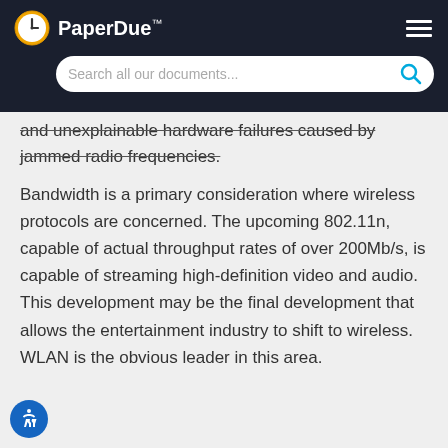PaperDue™ — Search all our documents...
and unexplainable hardware failures caused by jammed radio frequencies.
Bandwidth is a primary consideration where wireless protocols are concerned. The upcoming 802.11n, capable of actual throughput rates of over 200Mb/s, is capable of streaming high-definition video and audio. This development may be the final development that allows the entertainment industry to shift to wireless. WLAN is the obvious leader in this area.